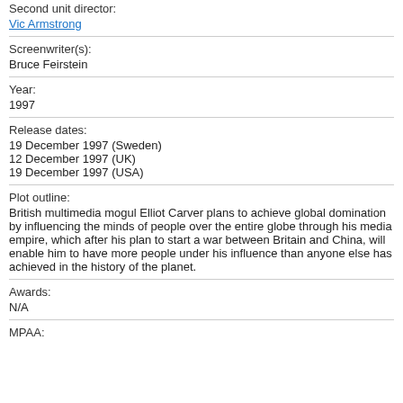Second unit director:
Vic Armstrong
Screenwriter(s):
Bruce Feirstein
Year:
1997
Release dates:
19 December 1997 (Sweden)
12 December 1997 (UK)
19 December 1997 (USA)
Plot outline:
British multimedia mogul Elliot Carver plans to achieve global domination by influencing the minds of people over the entire globe through his media empire, which after his plan to start a war between Britain and China, will enable him to have more people under his influence than anyone else has achieved in the history of the planet.
Awards:
N/A
MPAA: